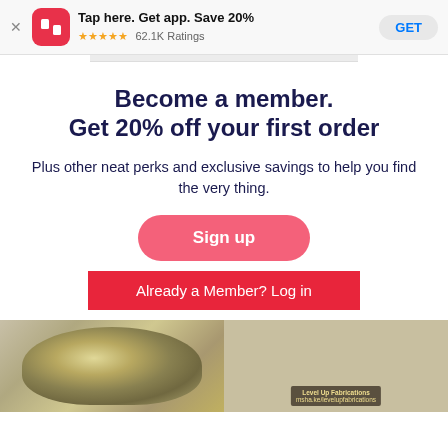[Figure (screenshot): App store smart banner for Redbubble app: logo icon (RB on red background), text 'Tap here. Get app. Save 20%', 5 star rating, '62.1K Ratings', and a GET button]
Become a member.
Get 20% off your first order
Plus other neat perks and exclusive savings to help you find the very thing.
Sign up
Already a Member? Log in
[Figure (photo): Product image: sparkly/rhinestone face mask on left side]
[Figure (photo): Product image: sticker illustration of a person welding, with text 'Level Up Fabrications msha.ke/levelupfabrications']